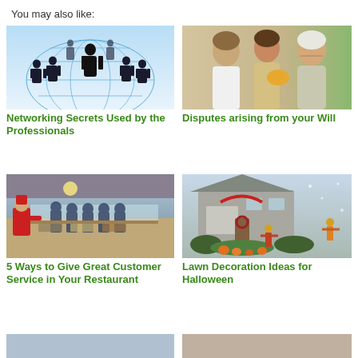You may also like:
[Figure (photo): Silhouette of business professionals standing on a globe network grid illustration]
Networking Secrets Used by the Professionals
[Figure (photo): Three generations of women looking at something together, possibly a document or photo]
Disputes arising from your Will
[Figure (photo): Restaurant kitchen with staff in chef uniforms serving food at a buffet line]
5 Ways to Give Great Customer Service in Your Restaurant
[Figure (photo): House exterior decorated with Halloween lawn decorations including pumpkins and scarecrows]
Lawn Decoration Ideas for Halloween
[Figure (photo): Partial image at bottom left, cropped]
[Figure (photo): Partial image at bottom right, cropped]